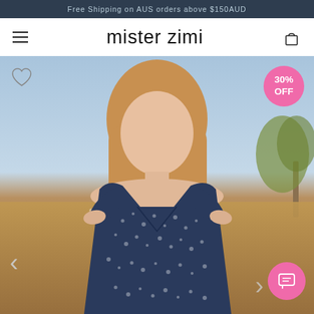Free Shipping on AUS orders above $150AUD
mister zimi
[Figure (photo): Fashion e-commerce screenshot for Mister Zimi showing a female model wearing a navy blue floral/dot print wrap dress, standing outdoors in a desert landscape with warm sandy tones and a tree in the background. A pink circular badge reads '30% OFF'. A heart wishlist icon is visible top-left. A pink chat button is bottom-right. Navigation arrows are present on the sides.]